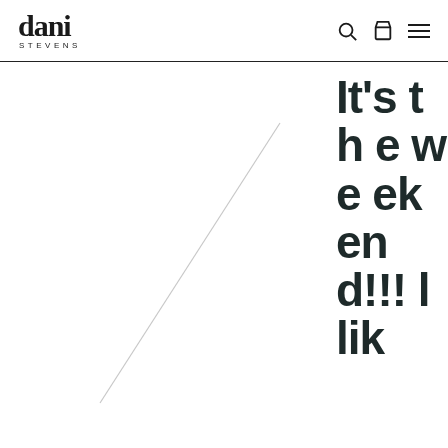dani STEVENS
[Figure (illustration): Placeholder image area with diagonal line from upper right to lower left on white background]
It's the weekend!!! I lik